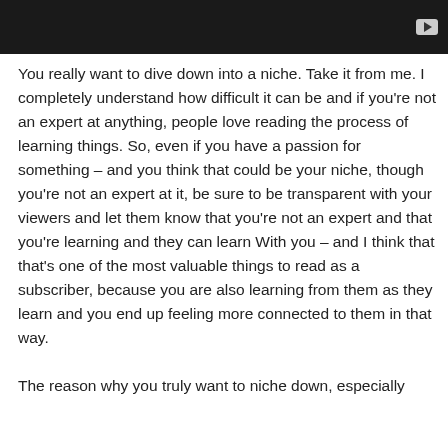[Figure (screenshot): Video thumbnail placeholder — dark/black background with a play button icon in the top-right corner]
You really want to dive down into a niche. Take it from me. I completely understand how difficult it can be and if you're not an expert at anything, people love reading the process of learning things. So, even if you have a passion for something – and you think that could be your niche, though you're not an expert at it, be sure to be transparent with your viewers and let them know that you're not an expert and that you're learning and they can learn With you – and I think that that's one of the most valuable things to read as a subscriber, because you are also learning from them as they learn and you end up feeling more connected to them in that way.
The reason why you truly want to niche down, especially